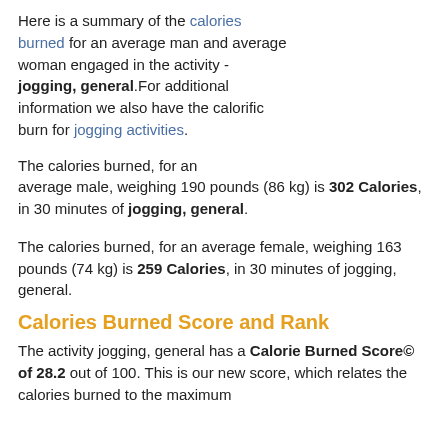Here is a summary of the calories burned for an average man and average woman engaged in the activity - jogging, general.For additional information we also have the calorific burn for jogging activities.
The calories burned, for an average male, weighing 190 pounds (86 kg) is 302 Calories, in 30 minutes of jogging, general.
The calories burned, for an average female, weighing 163 pounds (74 kg) is 259 Calories, in 30 minutes of jogging, general.
Calories Burned Score and Rank
The activity jogging, general has a Calorie Burned Score© of 28.2 out of 100. This is our new score, which relates the calories burned to the maximum